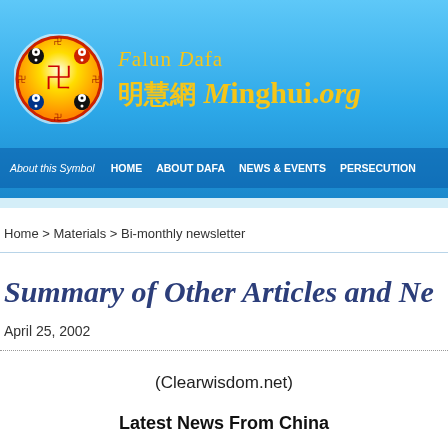[Figure (logo): Falun Dafa Minghui.org website header banner with logo circle and site name in gold text on blue background]
About this Symbol   HOME   ABOUT DAFA   NEWS & EVENTS   PERSECUTION
Home > Materials > Bi-monthly newsletter
Summary of Other Articles and Ne...
April 25, 2002
(Clearwisdom.net)
Latest News From China